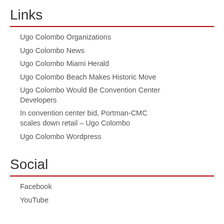Links
Ugo Colombo Organizations
Ugo Colombo News
Ugo Colombo Miami Herald
Ugo Colombo Beach Makes Historic Move
Ugo Colombo Would Be Convention Center Developers
In convention center bid, Portman-CMC scales down retail – Ugo Colombo
Ugo Colombo Wordpress
Social
Facebook
YouTube